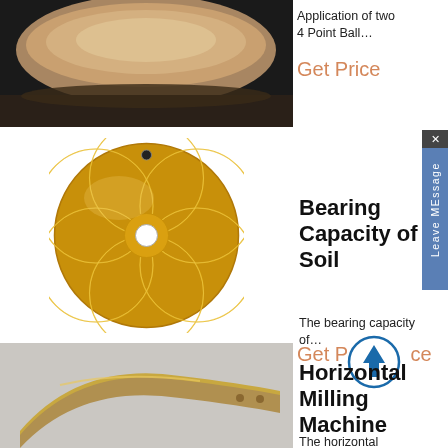[Figure (photo): Close-up photo of a metal disc/bearing with bronze and dark coloring]
Application of two 4 Point Ball…
Get Price
[Figure (photo): Gold metallic decorative disc with floral/petal pattern cutouts and a central hole]
Bearing Capacity of Soil
The bearing capacity of…
Get Price
[Figure (photo): Photo of a curved metal bracket/part in gold/brass color on gray background]
Horizontal Milling Machine
The horizontal